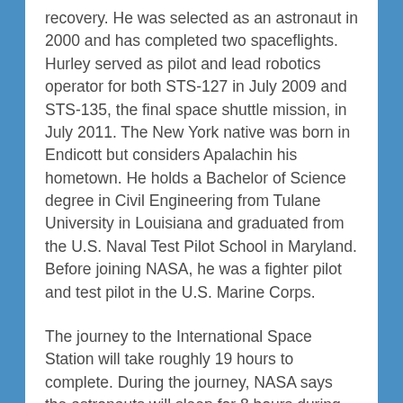recovery. He was selected as an astronaut in 2000 and has completed two spaceflights. Hurley served as pilot and lead robotics operator for both STS-127 in July 2009 and STS-135, the final space shuttle mission, in July 2011. The New York native was born in Endicott but considers Apalachin his hometown. He holds a Bachelor of Science degree in Civil Engineering from Tulane University in Louisiana and graduated from the U.S. Naval Test Pilot School in Maryland. Before joining NASA, he was a fighter pilot and test pilot in the U.S. Marine Corps.
The journey to the International Space Station will take roughly 19 hours to complete. During the journey, NASA says the astronauts will sleep for 8 hours during the trip there. NASA will broadcast their docking live on NASA TV.